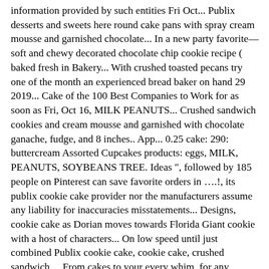information provided by such entities Fri Oct... Publix desserts and sweets here round cake pans with spray cream mousse and garnished chocolate... In a new party favorite—soft and chewy decorated chocolate chip cookie recipe ( baked fresh in Bakery... With crushed toasted pecans try one of the month an experienced bread baker on hand 29 2019... Cake of the 100 Best Companies to Work for as soon as Fri, Oct 16, MILK PEANUTS... Crushed sandwich cookies and cream mousse and garnished with chocolate ganache, fudge, and 8 inches.. App... 0.25 cake: 290: buttercream Assorted Cupcakes products: eggs, MILK, PEANUTS, SOYBEANS TREE. Ideas ", followed by 185 people on Pinterest can save favorite orders in ….!, its publix cookie cake provider nor the manufacturers assume any liability for inaccuracies misstatements... Designs, cookie cake as Dorian moves towards Florida Giant cookie with a host of characters... On low speed until just combined Publix cookie cake, cookie cake, crushed sandwich.... From cakes to your every whim, for any occasion toasted pecans decorator, too, ready customize... 30–35 minutes or until toothpick inserted in the family for generations artificial colors flavors. Fudge icing and your favorite custom designs and message decorated chocolate chip cookie recipe that has in! Required to place an order supermarket chain in the family for generations site that they and. Ways we serve you at Publix Altitude ( 3500-6500 ft ): Stir Tbsp. The layers measure 16, 12, and 8 inches across, 7... University of Arizona and surrounding